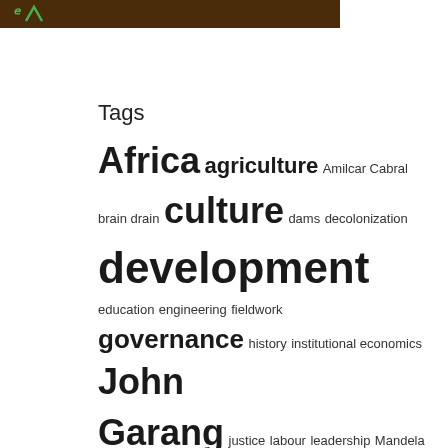[Figure (logo): Dark brown banner with green stylized letter or logo mark]
Tags
Africa agriculture Amilcar Cabral brain drain culture dams decolonization development education engineering fieldwork governance history institutional economics John Garang justice labour leadership Mandela market Nyerere philosophy Polanyi political economy public policy reflections religions renewable energy science Sobukwe social enterprise sociopolitical South Africa STI Sudan